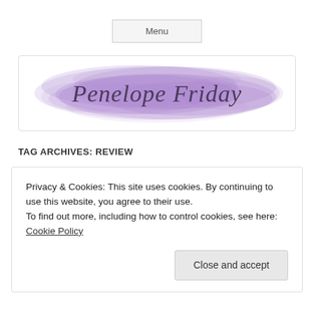Menu
[Figure (logo): Penelope Friday blog logo — cursive script text 'Penelope Friday' on a watercolor purple/lavender cloudy background]
TAG ARCHIVES: REVIEW
Privacy & Cookies: This site uses cookies. By continuing to use this website, you agree to their use.
To find out more, including how to control cookies, see here: Cookie Policy
Close and accept